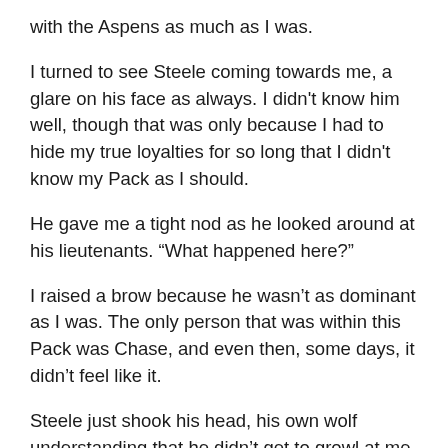with the Aspens as much as I was.
I turned to see Steele coming towards me, a glare on his face as always. I didn't know him well, though that was only because I had to hide my true loyalties for so long that I didn't know my Pack as I should.
He gave me a tight nod as he looked around at his lieutenants. “What happened here?”
I raised a brow because he wasn’t as dominant as I was. The only person that was within this Pack was Chase, and even then, some days, it didn’t feel like it.
Steele just shook his head, his own wolf understanding that he didn’t get to growl at me like that in front of others. We were all still finding our place, figuring out how to work together as a cohesive unit. The fact that I hadn’t had a